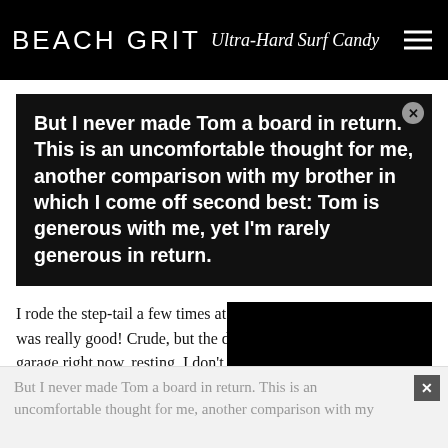BEACH GRIT Ultra-Hard Surf Candy
But I never made Tom a board in return. This is an uncomfortable thought for me, another comparison with my brother in which I come off second best: Tom is generous with me, yet I’m rarely generous in return.
I rode the step-tail a few times at [obscured] was really good! Crude, but the [obscured] garage right now, resting. I don’t [obscured] the fang.
[Figure (screenshot): Video player overlay showing paused state with red progress bar and timestamp 00:17 / 00:15]
But I never made Tom a board in return. This is an uncomfortable thought for me, another comparison with my